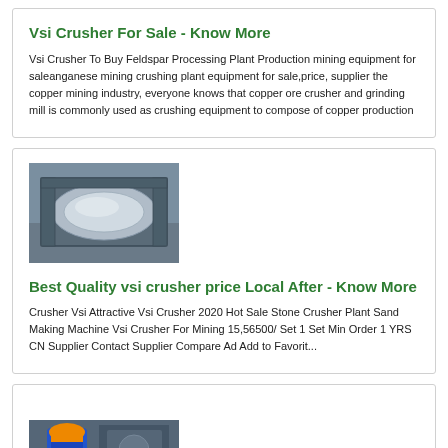Vsi Crusher For Sale - Know More
Vsi Crusher To Buy Feldspar Processing Plant Production mining equipment for saleanganese mining crushing plant equipment for sale,price, supplier the copper mining industry, everyone knows that copper ore crusher and grinding mill is commonly used as crushing equipment to compose of copper production
[Figure (photo): Photo of a VSI crusher machine component showing a metallic cylindrical rotor element inside a box-shaped housing, in an industrial facility]
Best Quality vsi crusher price Local After - Know More
Crusher Vsi Attractive Vsi Crusher 2020 Hot Sale Stone Crusher Plant Sand Making Machine Vsi Crusher For Mining 15,56500/ Set 1 Set Min Order 1 YRS CN Supplier Contact Supplier Compare Ad Add to Favorit...
[Figure (photo): Partial photo of worker in blue clothing and hard hat near industrial mining equipment]